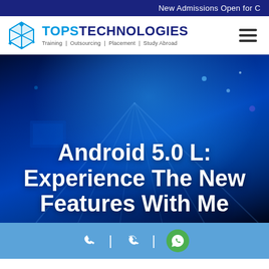New Admissions Open for C
[Figure (logo): TOPS Technologies logo with cube icon. Text reads TOPS TECHNOLOGIES. Tagline: Training | Outsourcing | Placement | Study Abroad]
[Figure (photo): Dark blue technology background with light beams and bokeh effects]
Android 5.0 L: Experience The New Features With Me
[Figure (infographic): Light blue bottom bar with phone icon, callback icon (pipe separator between each), and WhatsApp green circle icon]